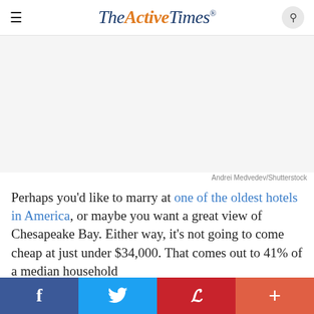The Active Times
[Figure (photo): Blank/white image area (advertisement or photo placeholder)]
Andrei Medvedev/Shutterstock
Perhaps you'd like to marry at one of the oldest hotels in America, or maybe you want a great view of Chesapeake Bay. Either way, it's not going to come cheap at just under $34,000. That comes out to 41% of a median household
f  Twitter  p  +